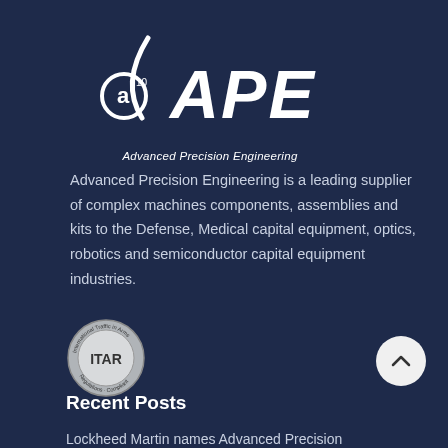[Figure (logo): a10/APE Advanced Precision Engineering logo — white stylized 'a' with superscript '10' and swoosh, bold italic 'APE' text, italic tagline 'Advanced Precision Engineering']
Advanced Precision Engineering is a leading supplier of complex machines components, assemblies and kits to the Defense, Medical capital equipment, optics, robotics and semiconductor capital equipment industries.
[Figure (logo): ITAR Compliant badge — circular seal with 'ITAR' in center, text 'International Traffic in Arms Regulations' and 'Compliant' around border]
Recent Posts
Lockheed Martin names Advanced Precision Engineering,